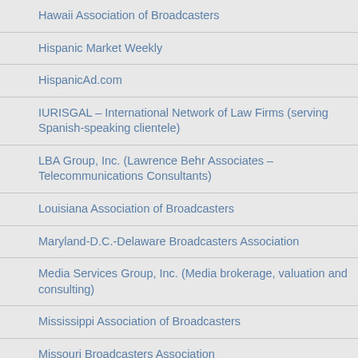Hawaii Association of Broadcasters
Hispanic Market Weekly
HispanicAd.com
IURISGAL – International Network of Law Firms (serving Spanish-speaking clientele)
LBA Group, Inc. (Lawrence Behr Associates – Telecommunications Consultants)
Louisiana Association of Broadcasters
Maryland-D.C.-Delaware Broadcasters Association
Media Services Group, Inc. (Media brokerage, valuation and consulting)
Mississippi Association of Broadcasters
Missouri Broadcasters Association
Montana Broadcasters Association
Nebraska Broadcasters Association